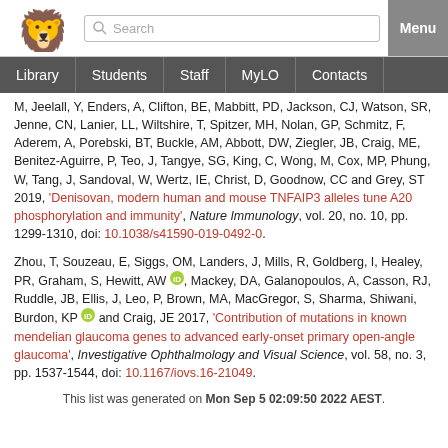University website header with logo, search bar, Menu button, and navigation links: Library, Students, Staff, MyLO, Contacts
M, Jeelall, Y, Enders, A, Clifton, BE, Mabbitt, PD, Jackson, CJ, Watson, SR, Jenne, CN, Lanier, LL, Wiltshire, T, Spitzer, MH, Nolan, GP, Schmitz, F, Aderem, A, Porebski, BT, Buckle, AM, Abbott, DW, Ziegler, JB, Craig, ME, Benitez-Aguirre, P, Teo, J, Tangye, SG, King, C, Wong, M, Cox, MP, Phung, W, Tang, J, Sandoval, W, Wertz, IE, Christ, D, Goodnow, CC and Grey, ST 2019, 'Denisovan, modern human and mouse TNFAIP3 alleles tune A20 phosphorylation and immunity', Nature Immunology, vol. 20, no. 10, pp. 1299-1310, doi: 10.1038/s41590-019-0492-0.
Zhou, T, Souzeau, E, Siggs, OM, Landers, J, Mills, R, Goldberg, I, Healey, PR, Graham, S, Hewitt, AW [ORCID], Mackey, DA, Galanopoulos, A, Casson, RJ, Ruddle, JB, Ellis, J, Leo, P, Brown, MA, MacGregor, S, Sharma, Shiwani, Burdon, KP [ORCID] and Craig, JE 2017, 'Contribution of mutations in known mendelian glaucoma genes to advanced early-onset primary open-angle glaucoma', Investigative Ophthalmology and Visual Science, vol. 58, no. 3, pp. 1537-1544, doi: 10.1167/iovs.16-21049.
This list was generated on Mon Sep 5 02:09:50 2022 AEST.